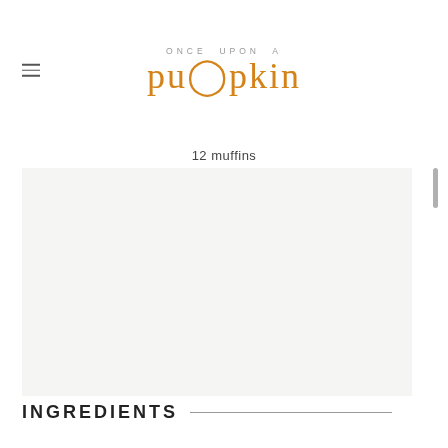ONCE UPON A pumpkin
12 muffins
[Figure (photo): Light grey/beige rectangular image area, likely a food photo placeholder]
INGREDIENTS